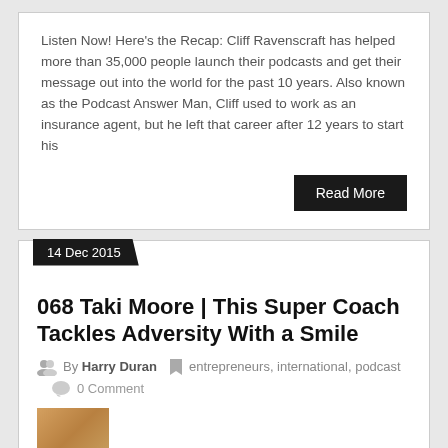Listen Now! Here's the Recap: Cliff Ravenscraft has helped more than 35,000 people launch their podcasts and get their message out into the world for the past 10 years. Also known as the Podcast Answer Man, Cliff used to work as an insurance agent, but he left that career after 12 years to start his
Read More
14 Dec 2015
068 Taki Moore | This Super Coach Tackles Adversity With a Smile
By Harry Duran  entrepreneurs, international, podcast
0 Comment
[Figure (photo): Partial thumbnail image at bottom of card]